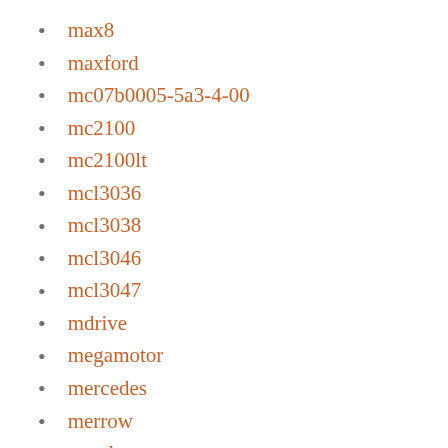max8
maxford
mc07b0005-5a3-4-00
mc2100
mc2100lt
mcl3036
mcl3038
mcl3046
mcl3047
mdrive
megamotor
mercedes
merrow
metal
micro
minarik
minn